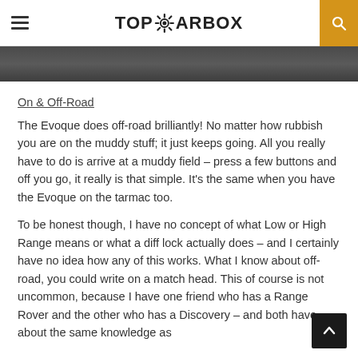TOPGEARBOX
[Figure (photo): Dark image strip, partial view of a vehicle photo at the top]
On & Off-Road
The Evoque does off-road brilliantly! No matter how rubbish you are on the muddy stuff; it just keeps going. All you really have to do is arrive at a muddy field – press a few buttons and off you go, it really is that simple. It's the same when you have the Evoque on the tarmac too.
To be honest though, I have no concept of what Low or High Range means or what a diff lock actually does – and I certainly have no idea how any of this works. What I know about off-road, you could write on a match head. This of course is not uncommon, because I have one friend who has a Range Rover and the other who has a Discovery – and both have about the same knowledge as